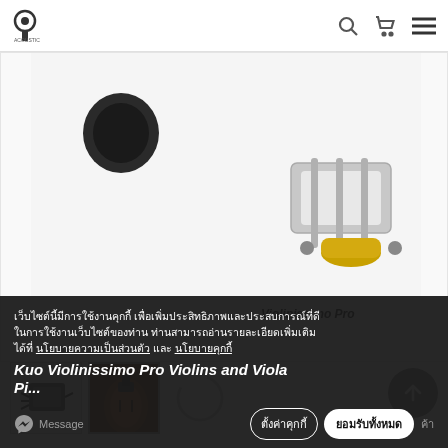Acoustic Villa - header with logo, search, cart, and menu icons
[Figure (photo): Product image of Violinissimo Pro violin microphone/pickup device shown against white background, silver chrome and gold colored hardware visible. Label 'Violinissimo Pro' in bold italic at bottom right.]
[Figure (photo): Thumbnail 1: electronic device with cables]
[Figure (photo): Thumbnail 2: violin with attached pickup]
[Figure (other): Loading spinner circle thumbnail placeholder]
เว็บไซต์นี้มีการใช้งานคุกกี้ เพื่อเพิ่มประสิทธิภาพและประสบการณ์ที่ดีในการใช้งานเว็บไซต์ของท่าน ท่านสามารถอ่านรายละเอียดเพิ่มเติมได้ที่ นโยบายความเป็นส่วนตัว และ นโยบายคุกกี้
Kuo Violinissimo Pro Violins and Viola Pi...
ตั้งค่าคุกกี้ | ยอมรับทั้งหมด